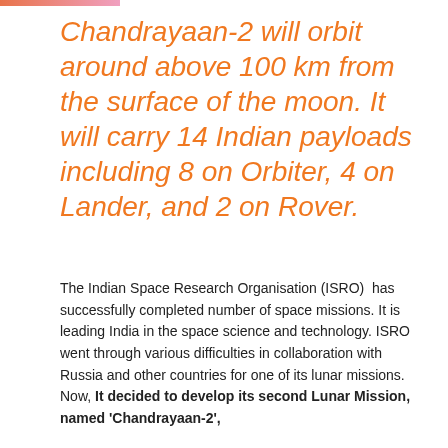Chandrayaan-2 will orbit around above 100 km from the surface of the moon. It will carry 14 Indian payloads including 8 on Orbiter, 4 on Lander, and 2 on Rover.
The Indian Space Research Organisation (ISRO) has successfully completed number of space missions. It is leading India in the space science and technology. ISRO went through various difficulties in collaboration with Russia and other countries for one of its lunar missions. Now, It decided to develop its second Lunar Mission, named 'Chandrayaan-2',